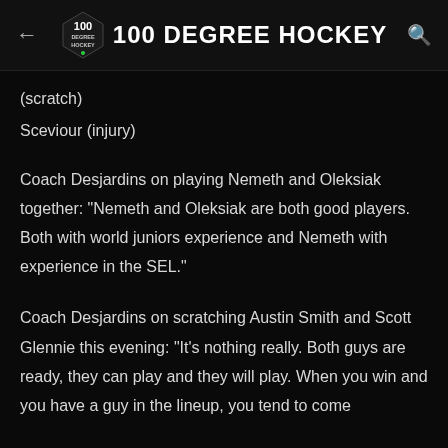100 DEGREE HOCKEY
(scratch)
Sceviour (injury)
Coach Desjardins on playing Nemeth and Oleksiak together: "Nemeth and Oleksiak are both good players. Both with world juniors experience and Nemeth with experience in the SEL."
Coach Desjardins on scratching Austin Smith and Scott Glennie this evening: "It's nothing really. Both guys are ready, they can play and they will play. When you win and you have a guy in the lineup, you tend to come